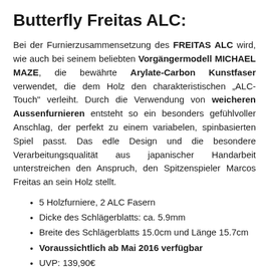Butterfly Freitas ALC:
Bei der Furnierzusammensetzung des FREITAS ALC wird, wie auch bei seinem beliebten Vorgängermodell MICHAEL MAZE, die bewährte Arylate-Carbon Kunstfaser verwendet, die dem Holz den charakteristischen „ALC-Touch" verleiht. Durch die Verwendung von weicheren Aussenfurnieren entsteht so ein besonders gefühlvoller Anschlag, der perfekt zu einem variabelen, spinbasierten Spiel passt. Das edle Design und die besondere Verarbeitungsqualität aus japanischer Handarbeit unterstreichen den Anspruch, den Spitzenspieler Marcos Freitas an sein Holz stellt.
5 Holzfurniere, 2 ALC Fasern
Dicke des Schlägerblatts: ca. 5.9mm
Breite des Schlägerblatts 15.0cm und Länge 15.7cm
Voraussichtlich ab Mai 2016 verfügbar
UVP: 139,90€